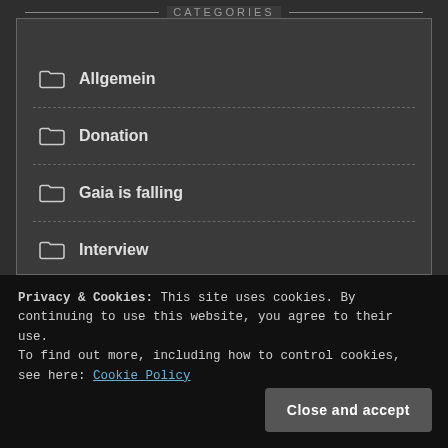CATEGORIES
Allgemein
Donation
Gaia is falling
Interview
Privacy & Cookies: This site uses cookies. By continuing to use this website, you agree to their use.
To find out more, including how to control cookies, see here: Cookie Policy
Close and accept